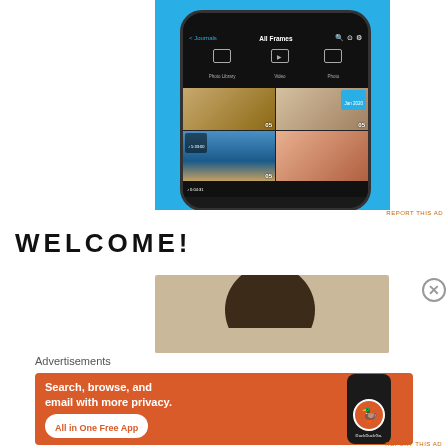[Figure (screenshot): Mobile app screenshot showing a photo/video library interface on a blue background. The phone displays 'All Frames' view with Photo Library, Video, and Photo options, and a grid of photos dated Jan 2020.]
REPORT THIS AD
WELCOME!
[Figure (photo): Partial photo of a person's head/face, cropped, on a beige background.]
Advertisements
[Figure (screenshot): DuckDuckGo advertisement banner on orange background. Text: 'Search, browse, and email with more privacy. All in One Free App' with DuckDuckGo logo and a dark phone mockup.]